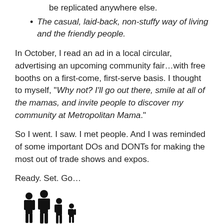be replicated anywhere else.
The casual, laid-back, non-stuffy way of living and the friendly people.
In October, I read an ad in a local circular, advertising an upcoming community fair...with free booths on a first-come, first-serve basis. I thought to myself, "Why not? I'll go out there, smile at all of the mamas, and invite people to discover my community at Metropolitan Mama."
So I went. I saw. I met people. And I was reminded of some important DOs and DONTs for making the most out of trade shows and expos.
Ready. Set. Go...
[Figure (illustration): Silhouette of a family with adults and children walking together]